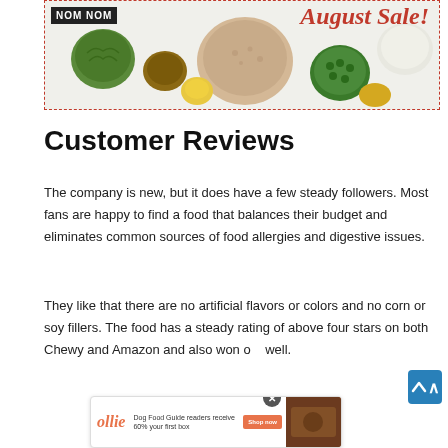[Figure (photo): NOM NOM August Sale banner advertisement with various food bowls containing ingredients like grains, greens, and pulses on a light background with red italic script text 'August Sale!' and bold white 'NOM NOM' logo, bordered by a red dashed line.]
Customer Reviews
The company is new, but it does have a few steady followers. Most fans are happy to find a food that balances their budget and eliminates common sources of food allergies and digestive issues.
They like that there are no artificial flavors or colors and no corn or soy fillers. The food has a steady rating of above four stars on both Chewy and Amazon and also won o[...]well.
[Figure (photo): Ollie dog food advertisement banner with logo, text 'Dog Food Guide readers receive 60% your first box', Shop now button, and a photo of dog food.]